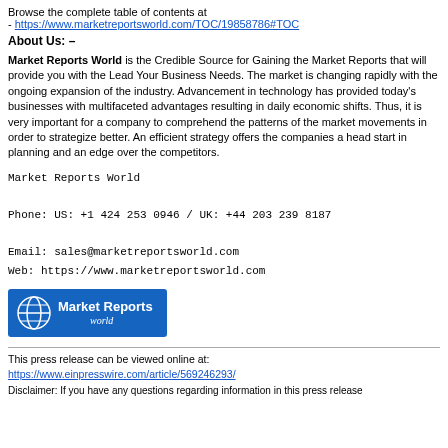Browse the complete table of contents at
- https://www.marketreportsworld.com/TOC/19858786#TOC
About Us: –
Market Reports World is the Credible Source for Gaining the Market Reports that will provide you with the Lead Your Business Needs. The market is changing rapidly with the ongoing expansion of the industry. Advancement in technology has provided today's businesses with multifaceted advantages resulting in daily economic shifts. Thus, it is very important for a company to comprehend the patterns of the market movements in order to strategize better. An efficient strategy offers the companies a head start in planning and an edge over the competitors.
Market Reports World

Phone: US: +1 424 253 0946 / UK: +44 203 239 8187

Email: sales@marketreportsworld.com
Web: https://www.marketreportsworld.com
[Figure (logo): Market Reports World logo — blue rectangle with globe icon and white text 'Market Reports World']
This press release can be viewed online at:
https://www.einpresswire.com/article/569246293/
Disclaimer: If you have any questions regarding information in this press release